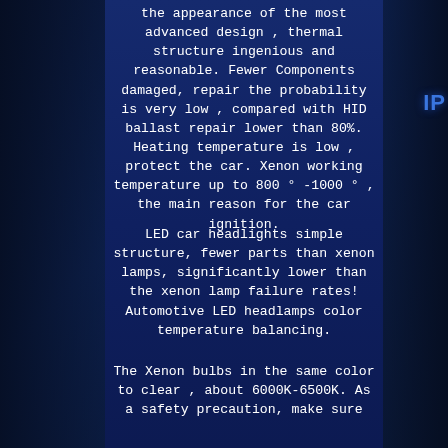the appearance of the most advanced design , thermal structure ingenious and reasonable. Fewer Components damaged, repair the probability is very low , compared with HID ballast repair lower than 80%. Heating temperature is low , protect the car. Xenon working temperature up to 800 ° -1000 ° , the main reason for the car ignition.
LED car headlights simple structure, fewer parts than xenon lamps, significantly lower than the xenon lamp failure rates! Automotive LED headlamps color temperature balancing.
The Xenon bulbs in the same color to clear , about 6000K-6500K. As a safety precaution, make sure